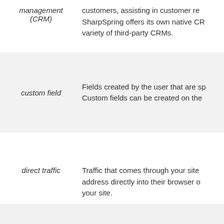management (CRM)
customers, assisting in customer re... SharpSpring offers its own native CR... variety of third-party CRMs.
custom field
Fields created by the user that are sp... Custom fields can be created on the...
direct traffic
Traffic that comes through your site... address directly into their browser o... your site.